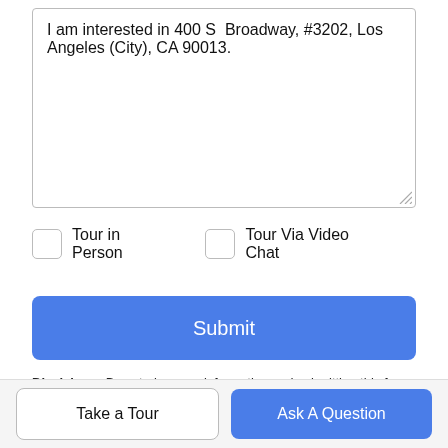I am interested in 400 S Broadway, #3202, Los Angeles (City), CA 90013.
Tour in Person
Tour Via Video Chat
Submit
Disclaimer: By entering your information and submitting this form, you agree to our Terms of Use and Privacy Policy and that you may be contacted by phone, text message and email about your inquiry.
Based on information from California Regional Multiple Listing
Take a Tour
Ask A Question